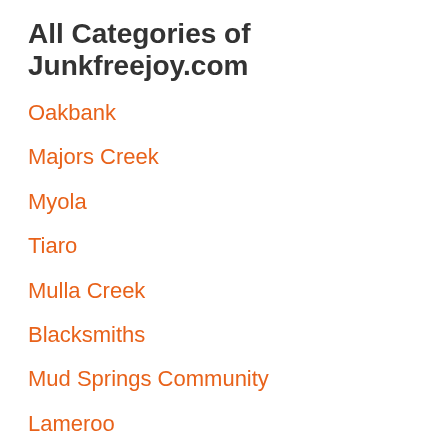All Categories of Junkfreejoy.com
Oakbank
Majors Creek
Myola
Tiaro
Mulla Creek
Blacksmiths
Mud Springs Community
Lameroo
Eudunda
Yangery
Narellan
Alonnah